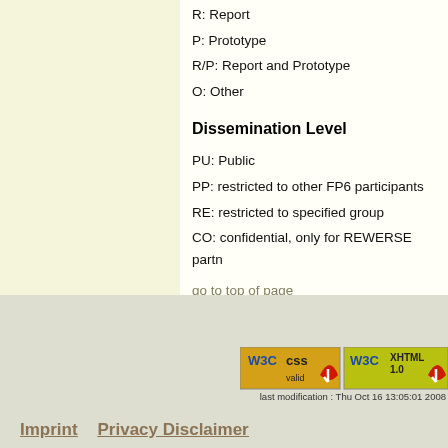R: Report
P: Prototype
R/P: Report and Prototype
O: Other
Dissemination Level
PU: Public
PP: restricted to other FP6 participants
RE: restricted to specified group
CO: confidential, only for REWERSE partn
go to top of page
[Figure (logo): W3C CSS and XHTML 1.0 validation badges]
last modification : Thu Oct 16 13:05:01 2008
Imprint   Privacy Disclaimer